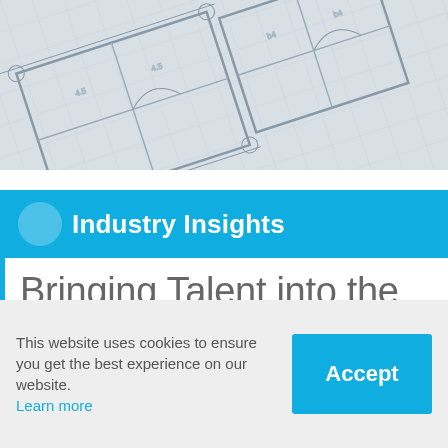[Figure (photo): Blueprint/architectural drawing in grayscale viewed at an angle, showing floor plan lines and room dimensions]
Industry Insights
Bringing Talent into the Family
Family businesses facing...
This website uses cookies to ensure you get the best experience on our website. Learn more
Accept